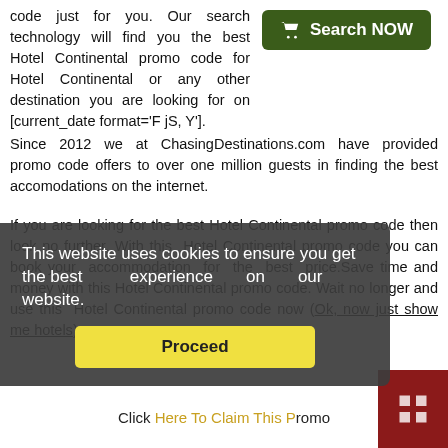code just for you. Our search technology will find you the best Hotel Continental promo code for Hotel Continental or any other destination you are looking for on [current_date format='F jS, Y'].
[Figure (other): Green 'Search NOW' button with a shopping cart icon]
Since 2012 we at ChasingDestinations.com have provided promo code offers to over one million guests in finding the best accomodations on the internet.
If you are looking for the best Hotel Continental promo code then look no further. With this Hotel Continental promo code you can book your accommodation for the best price.Save time and money with this Hotel Continental promo code. Wait no longer and use this Hotel Continental promo code now (Ok, now just show me hotels).
This website uses cookies to ensure you get the best experience on our website.
Proceed
Click Here To Claim This Promo